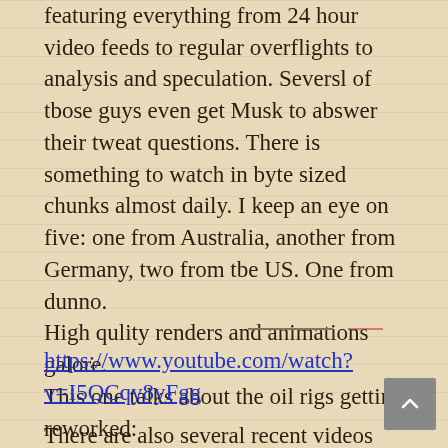featuring everything from 24 hour video feeds to regular overflights to analysis and speculation. Seversl of tbose guys even get Musk to abswer their tweat questions. There is something to watch in byte sized chunks almost daily. I keep an eye on five: one from Australia, another from Germany, two from tbe US. One from dunno.
High qulity renders and animations galore.
This one talks about the oil rigs getting reworked:
https://www.youtube.com/watch?v=I5QCqy8yFgg
There are also several recent videos